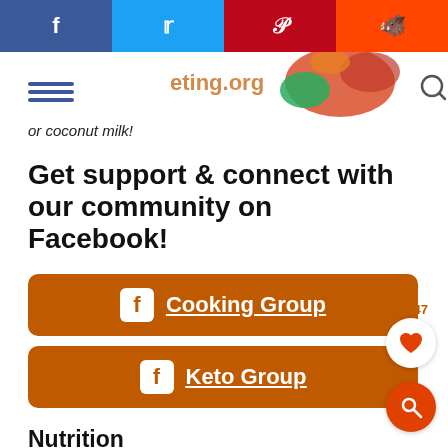[Figure (infographic): Social share bar with Facebook (blue), Twitter (light blue), Pinterest (red), Reddit (orange) icons at top]
[Figure (photo): Partial food photo (strawberries, greens) visible in top header area with hamburger menu icon on left and search icon on right]
or coconut milk!
Get support & connect with our community on Facebook!
[Figure (infographic): Orange rounded button with Facebook icon and 'Cooking Group' underlined white text]
[Figure (infographic): Orange rounded button with Facebook icon and 'Keto Group' underlined white text]
Nutrition
Calories: 66kcal | Carbohydrates: 10g | Protein: 3g | Fat: 2g | Fiber: 4g | Sugar: